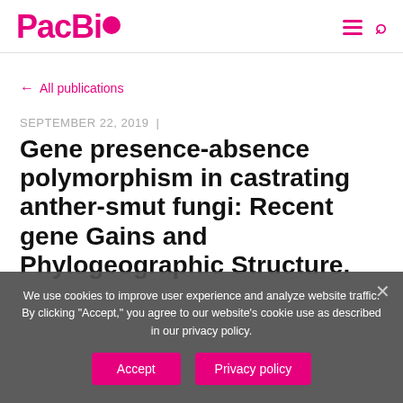PacBio
← All publications
SEPTEMBER 22, 2019 |
Gene presence-absence polymorphism in castrating anther-smut fungi: Recent gene Gains and Phylogeographic Structure.
We use cookies to improve user experience and analyze website traffic. By clicking "Accept," you agree to our website's cookie use as described in our privacy policy.